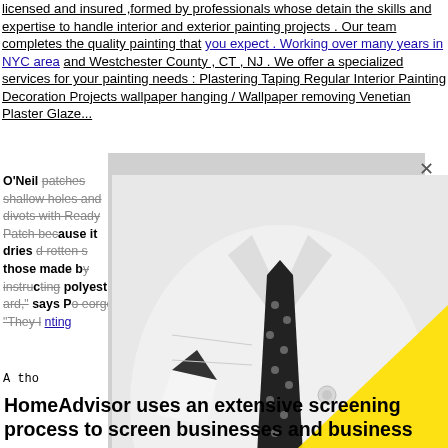licensed and insured ,formed by professionals whose detain the skills and expertise to handle interior and exterior painting projects . Our team completes the quality painting that you expect . Working over many years in NYC area and Westchester County , CT , NJ . We offer a specialized services for your painting needs : Plastering Taping Regular Interior Painting Decoration Projects wallpaper hanging / Wallpaper removing Venetian Plaster Glaze...
O'Neil patches shallow holes and divots with Ready Patch because it dries hard, and rotten wood those made by following instruction polyester hard," says P eorge. "They l inting
[Figure (photo): Black and white photo of a man in a white dress shirt with a black polka-dot tie and matching pocket square, overlaid with a large yellow triangle in the lower right portion of the image. A gray overlay box appears over part of the image with a close/X button.]
A tho                                     / exteri
HomeAdvisor uses an extensive screening process to screen businesses and business